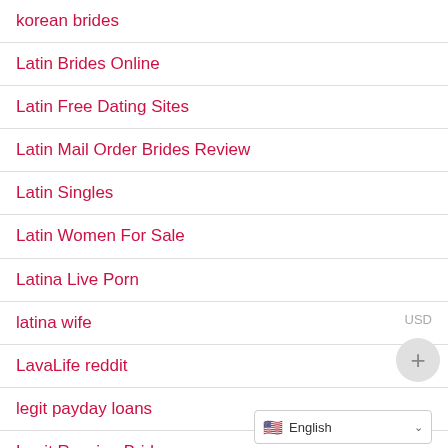korean brides
Latin Brides Online
Latin Free Dating Sites
Latin Mail Order Brides Review
Latin Singles
Latin Women For Sale
Latina Live Porn
latina wife
LavaLife reddit
legit payday loans
Legit Russian Brides
legitimate russian bride sites